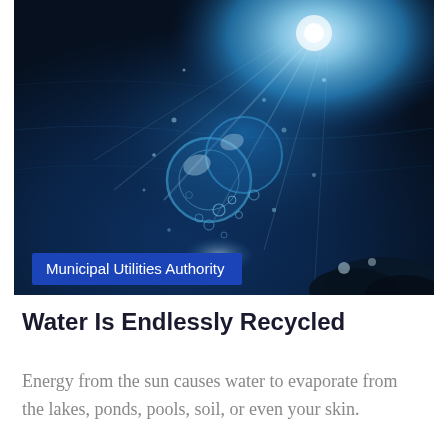[Figure (photo): Underwater photograph showing blue water with rising air bubbles, light rays shining from above, and dark rocks at the bottom right. A blue label overlay reads 'Municipal Utilities Authority'.]
Water Is Endlessly Recycled
Energy from the sun causes water to evaporate from the lakes, ponds, pools, soil, or even your skin.